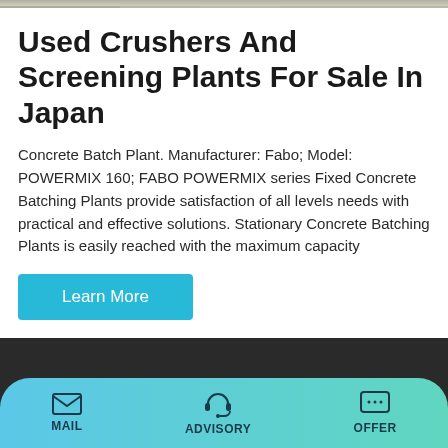[Figure (photo): Partial top image of a construction/crushing site with gravel and machinery]
Used Crushers And Screening Plants For Sale In Japan
Concrete Batch Plant. Manufacturer: Fabo; Model: POWERMIX 160; FABO POWERMIX series Fixed Concrete Batching Plants provide satisfaction of all levels needs with practical and effective solutions. Stationary Concrete Batching Plants is easily reached with the maximum capacity
Learn More
Contact Info
Gaoxinqu Area, ZhengzhouHenan China
MAIL  ADVISORY  OFFER